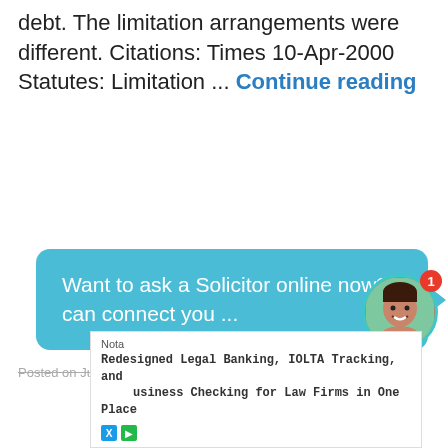debt. The limitation arrangements were different. Citations: Times 10-Apr-2000 Statutes: Limitation ... Continue reading
Want to ask a Solicitor online now? I can connect you ...
Posted on July 24, 2022 by dls
Nota
Redesigned Legal Banking, IOLTA Tracking, and Business Checking for Law Firms in One Place